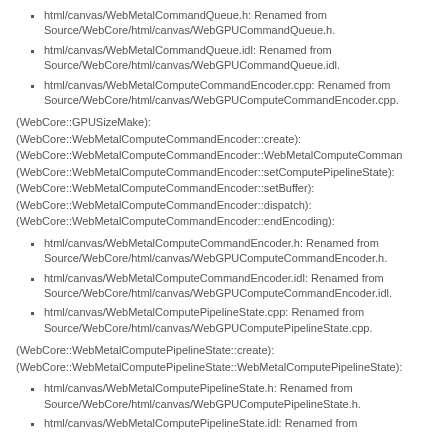html/canvas/WebMetalCommandQueue.h: Renamed from Source/WebCore/html/canvas/WebGPUCommandQueue.h.
html/canvas/WebMetalCommandQueue.idl: Renamed from Source/WebCore/html/canvas/WebGPUCommandQueue.idl.
html/canvas/WebMetalComputeCommandEncoder.cpp: Renamed from Source/WebCore/html/canvas/WebGPUComputeCommandEncoder.cpp.
(WebCore::GPUSizeMake):
(WebCore::WebMetalComputeCommandEncoder::create):
(WebCore::WebMetalComputeCommandEncoder::WebMetalComputeComman
(WebCore::WebMetalComputeCommandEncoder::setComputePipelineState):
(WebCore::WebMetalComputeCommandEncoder::setBuffer):
(WebCore::WebMetalComputeCommandEncoder::dispatch):
(WebCore::WebMetalComputeCommandEncoder::endEncoding):
html/canvas/WebMetalComputeCommandEncoder.h: Renamed from Source/WebCore/html/canvas/WebGPUComputeCommandEncoder.h.
html/canvas/WebMetalComputeCommandEncoder.idl: Renamed from Source/WebCore/html/canvas/WebGPUComputeCommandEncoder.idl.
html/canvas/WebMetalComputePipelineState.cpp: Renamed from Source/WebCore/html/canvas/WebGPUComputePipelineState.cpp.
(WebCore::WebMetalComputePipelineState::create):
(WebCore::WebMetalComputePipelineState::WebMetalComputePipelineState):
html/canvas/WebMetalComputePipelineState.h: Renamed from Source/WebCore/html/canvas/WebGPUComputePipelineState.h.
html/canvas/WebMetalComputePipelineState.idl: Renamed from